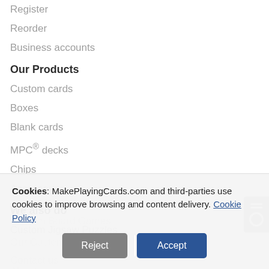Register
Reorder
Business accounts
Our Products
Custom cards
Boxes
Blank cards
MPC® decks
Chips
Accessories
We also do
Custom Jigsaw Puzzles
Cookies: MakePlayingCards.com and third-parties use cookies to improve browsing and content delivery. Cookie Policy
Reject | Accept